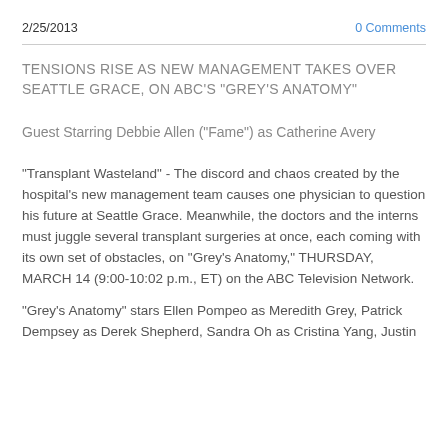2/25/2013     0 Comments
TENSIONS RISE AS NEW MANAGEMENT TAKES OVER SEATTLE GRACE, ON ABC'S "GREY'S ANATOMY"
Guest Starring Debbie Allen ("Fame") as Catherine Avery
"Transplant Wasteland" - The discord and chaos created by the hospital's new management team causes one physician to question his future at Seattle Grace. Meanwhile, the doctors and the interns must juggle several transplant surgeries at once, each coming with its own set of obstacles, on "Grey's Anatomy," THURSDAY, MARCH 14 (9:00-10:02 p.m., ET) on the ABC Television Network.
"Grey's Anatomy" stars Ellen Pompeo as Meredith Grey, Patrick Dempsey as Derek Shepherd, Sandra Oh as Cristina Yang, Justin